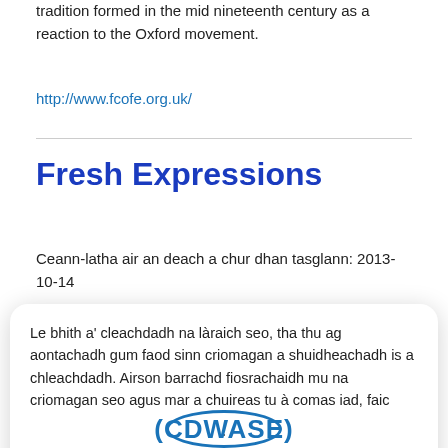tradition formed in the mid nineteenth century as a reaction to the Oxford movement.
http://www.fcofe.org.uk/
Fresh Expressions
Ceann-latha air an deach a chur dhan tasglann: 2013-10-14
Le bhith a' cleachdadh na làraich seo, tha thu ag aontachadh gum faod sinn criomagan a shuidheachadh is a chleachdadh. Airson barrachd fiosrachaidh mu na criomagan seo agus mar a chuireas tu à comas iad, faic
.
Ceart ma-tha
[Figure (logo): Circular logo with text (CDWASE) in blue]